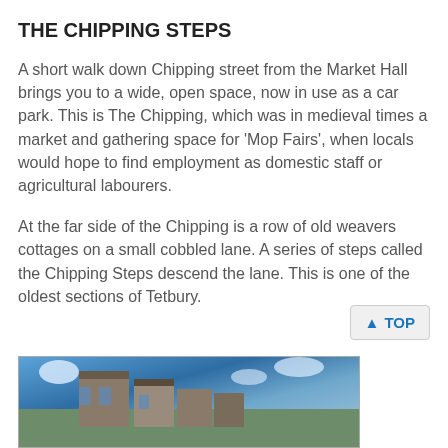THE CHIPPING STEPS
A short walk down Chipping street from the Market Hall brings you to a wide, open space, now in use as a car park. This is The Chipping, which was in medieval times a market and gathering space for 'Mop Fairs', when locals would hope to find employment as domestic staff or agricultural labourers.
At the far side of the Chipping is a row of old weavers cottages on a small cobbled lane. A series of steps called the Chipping Steps descend the lane. This is one of the oldest sections of Tetbury.
[Figure (photo): Photograph of the Chipping Steps area in Tetbury, showing an outdoor scene with blue sky and old stone buildings.]